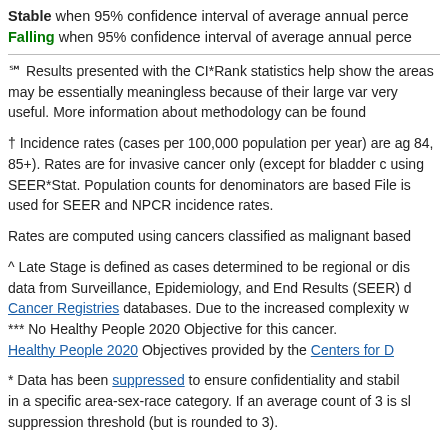Stable when 95% confidence interval of average annual perce...
Falling when 95% confidence interval of average annual perce...
ℏ Results presented with the CI*Rank statistics help show the areas may be essentially meaningless because of their large var very useful. More information about methodology can be found
† Incidence rates (cases per 100,000 population per year) are a 84, 85+). Rates are for invasive cancer only (except for bladder using SEER*Stat. Population counts for denominators are base File is used for SEER and NPCR incidence rates.
Rates are computed using cancers classified as malignant base
^ Late Stage is defined as cases determined to be regional or di data from Surveillance, Epidemiology, and End Results (SEER) Cancer Registries databases. Due to the increased complexity *** No Healthy People 2020 Objective for this cancer. Healthy People 2020 Objectives provided by the Centers for D
* Data has been suppressed to ensure confidentiality and stabi in a specific area-sex-race category. If an average count of 3 is suppression threshold (but is rounded to 3).